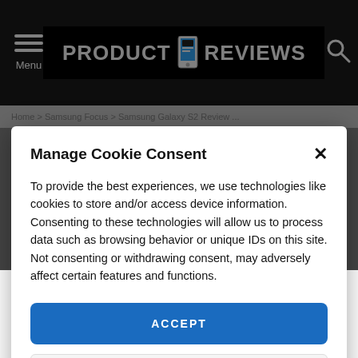PRODUCT REVIEWS — Menu / Search header
Manage Cookie Consent
To provide the best experiences, we use technologies like cookies to store and/or access device information. Consenting to these technologies will allow us to process data such as browsing behavior or unique IDs on this site. Not consenting or withdrawing consent, may adversely affect certain features and functions.
ACCEPT
VIEW PREFERENCES
Cookie Policy  Privacy Policy
from the original, which was considered a revolution, and improves on them. Firstly you'll notice from the